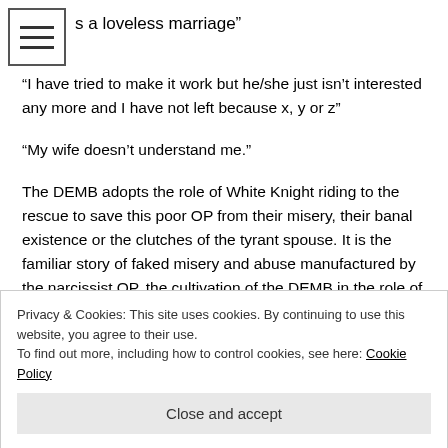s a loveless marriage”
“I have tried to make it work but he/she just isn’t interested any more and I have not left because x, y or z”
“My wife doesn’t understand me.”
The DEMB adopts the role of White Knight riding to the rescue to save this poor OP from their misery, their banal existence or the clutches of the tyrant spouse. It is the familiar story of faked misery and abuse manufactured by the narcissist OP, the cultivation of the DEMB in the role of rescuer, the OP as ‘victim’ and the OP’s Partner as the ‘perpetrator’. The DEMB operates through a hybrid of empathic traits (doing the decent thing in rescuing the poor
Privacy & Cookies: This site uses cookies. By continuing to use this website, you agree to their use.
To find out more, including how to control cookies, see here: Cookie Policy
Close and accept